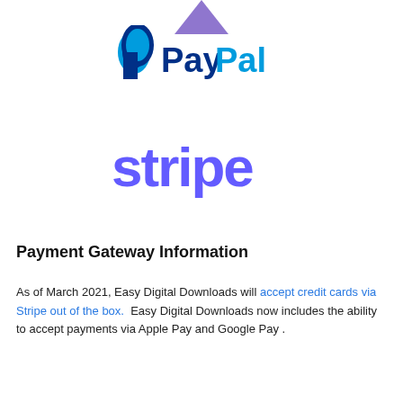[Figure (logo): Purple arrow/chevron decoration at top center]
[Figure (logo): PayPal logo with blue P icon and PayPal text in dark blue and cyan]
[Figure (logo): Stripe logo in purple/violet lowercase text]
Payment Gateway Information
As of March 2021, Easy Digital Downloads will accept credit cards via Stripe out of the box.  Easy Digital Downloads now includes the ability to accept payments via Apple Pay and Google Pay .